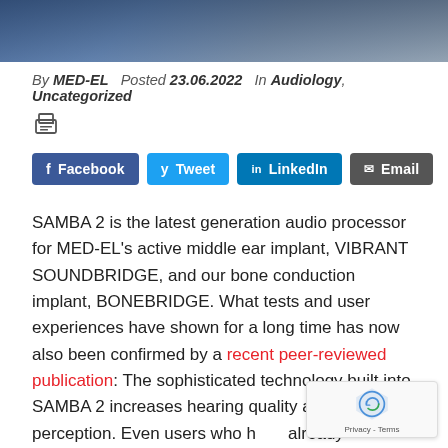[Figure (photo): Partial photo of people, cropped at top of page]
By MED-EL  Posted 23.06.2022  In Audiology, Uncategorized
[Figure (other): Print/document icon]
Facebook  Tweet  LinkedIn  Email (social share buttons)
SAMBA 2 is the latest generation audio processor for MED-EL's active middle ear implant, VIBRANT SOUNDBRIDGE, and our bone conduction implant, BONEBRIDGE. What tests and user experiences have shown for a long time has now also been confirmed by a recent peer-reviewed publication: The sophisticated technology built into SAMBA 2 increases hearing quality and speech perception. Even users who have already achieved very good results with SAMBA experienced significant additional improvements with